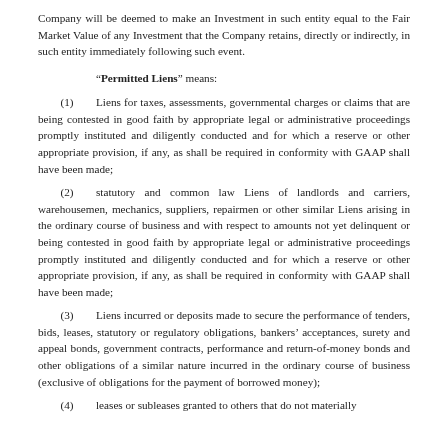Company will be deemed to make an Investment in such entity equal to the Fair Market Value of any Investment that the Company retains, directly or indirectly, in such entity immediately following such event.
“Permitted Liens” means:
(1) Liens for taxes, assessments, governmental charges or claims that are being contested in good faith by appropriate legal or administrative proceedings promptly instituted and diligently conducted and for which a reserve or other appropriate provision, if any, as shall be required in conformity with GAAP shall have been made;
(2) statutory and common law Liens of landlords and carriers, warehousemen, mechanics, suppliers, repairmen or other similar Liens arising in the ordinary course of business and with respect to amounts not yet delinquent or being contested in good faith by appropriate legal or administrative proceedings promptly instituted and diligently conducted and for which a reserve or other appropriate provision, if any, as shall be required in conformity with GAAP shall have been made;
(3) Liens incurred or deposits made to secure the performance of tenders, bids, leases, statutory or regulatory obligations, bankers’ acceptances, surety and appeal bonds, government contracts, performance and return-of-money bonds and other obligations of a similar nature incurred in the ordinary course of business (exclusive of obligations for the payment of borrowed money);
(4) leases or subleases granted to others that do not materially